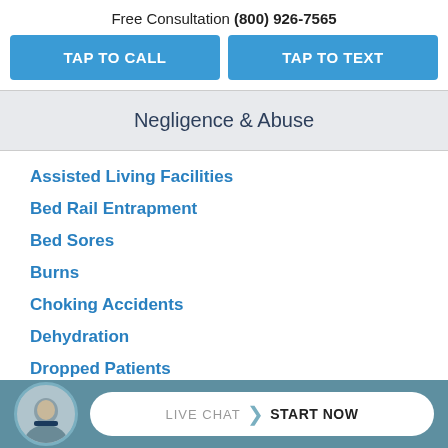Free Consultation (800) 926-7565
TAP TO CALL
TAP TO TEXT
Negligence & Abuse
Assisted Living Facilities
Bed Rail Entrapment
Bed Sores
Burns
Choking Accidents
Dehydration
Dropped Patients
LIVE CHAT  START NOW